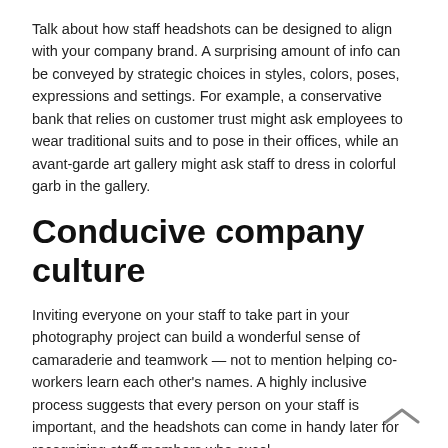Talk about how staff headshots can be designed to align with your company brand. A surprising amount of info can be conveyed by strategic choices in styles, colors, poses, expressions and settings. For example, a conservative bank that relies on customer trust might ask employees to wear traditional suits and to pose in their offices, while an avant-garde art gallery might ask staff to dress in colorful garb in the gallery.
Conducive company culture
Inviting everyone on your staff to take part in your photography project can build a wonderful sense of camaraderie and teamwork — not to mention helping co-workers learn each other's names. A highly inclusive process suggests that every person on your staff is important, and the headshots can come in handy later for recognizing staff members who excel.
Revved-up recruiting